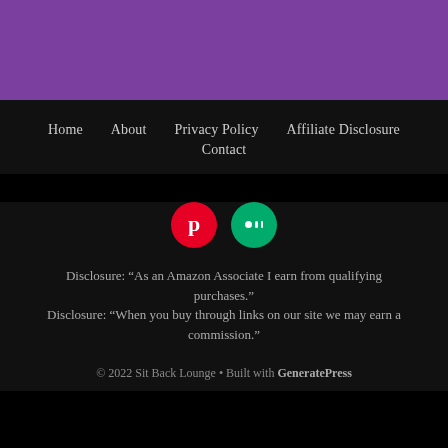[Figure (other): Purple header bar background]
Home  About  Privacy Policy  Affiliate Disclosure  Contact
[Figure (other): Pinterest and Medium social media icon circles]
Disclosure: “As an Amazon Associate I earn from qualifying purchases.”
Disclosure: “When you buy through links on our site we may earn a commission.”
© 2022 Sit Back Lounge • Built with GeneratePress